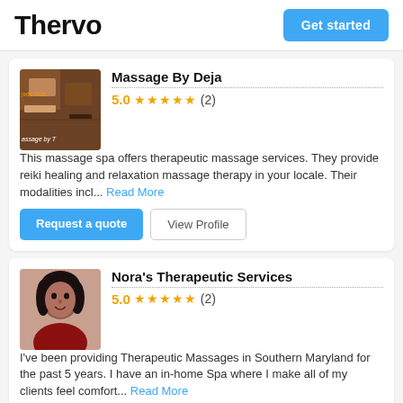Thervo | Get started
Massage By Deja
5.0 ★★★★★ (2)
This massage spa offers therapeutic massage services. They provide reiki healing and relaxation massage therapy in your locale. Their modalities incl... Read More
Request a quote | View Profile
Nora's Therapeutic Services
5.0 ★★★★★ (2)
I've been providing Therapeutic Massages in Southern Maryland for the past 5 years. I have an in-home Spa where I make all of my clients feel comfort... Read More